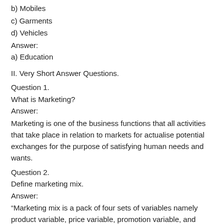b) Mobiles
c) Garments
d) Vehicles
Answer:
a) Education
II. Very Short Answer Questions.
Question 1.
What is Marketing?
Answer:
Marketing is one of the business functions that all activities that take place in relation to markets for actualise potential exchanges for the purpose of satisfying human needs and wants.
Question 2.
Define marketing mix.
Answer:
“Marketing mix is a pack of four sets of variables namely product variable, price variable, promotion variable, and place variable”
Question 3.